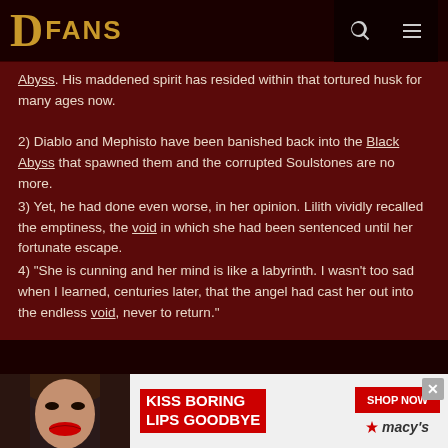DFans
Abyss. His maddened spirit has resided within that tortured husk for many ages now.
2) Diablo and Mephisto have been banished back into the Black Abyss that spawned them and the corrupted Soulstones are no more.
3) Yet, he had done even worse, in her opinion. Lilith vividly recalled the emptiness, the void in which she had been sentenced until her fortunate escape.
4) "She is cunning and her mind is like a labyrinth. I wasn't too sad when I learned, centuries later, that the angel had cast her out into the endless void, never to return."
Although the following quote is for the Reziarfg, which so far only seems to be a joke 'monster' on Blizzard's behalf (G. Fraizer's name backwards, its not actually an in-game monster), it's apparent 'lore' still coincides well with the Diablo universe.
[Figure (photo): Advertisement banner: Kiss Boring Lips Goodbye - Macy's. Shows a woman's face with red lipstick, Shop Now button and Macy's logo with star.]